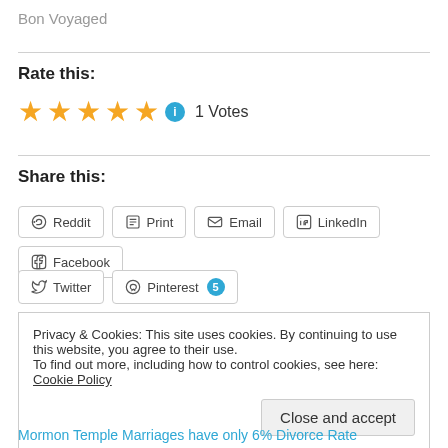Bon Voyaged
Rate this:
★★★★★ ℹ 1 Votes
Share this:
Reddit  Print  Email  LinkedIn  Facebook
Twitter  Pinterest 5
Privacy & Cookies: This site uses cookies. By continuing to use this website, you agree to their use.
To find out more, including how to control cookies, see here: Cookie Policy
Close and accept
Mormon Temple Marriages have only 6% Divorce Rate